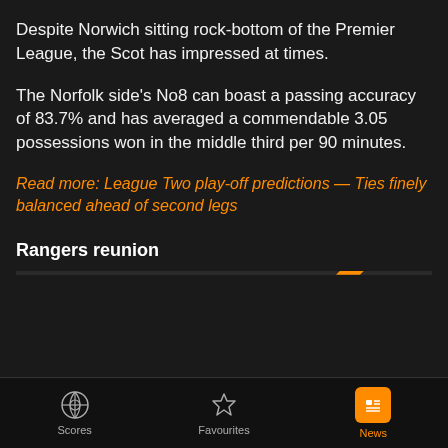Despite Norwich sitting rock-bottom of the Premier League, the Scot has impressed at times.
The Norfolk side's No8 can boast a passing accuracy of 83.7% and has averaged a commendable 3.05 possessions won in the middle third per 90 minutes.
Read more: League Two play-off predictions — Ties finely balanced ahead of second legs
Rangers reunion
Scores | Favourites | News